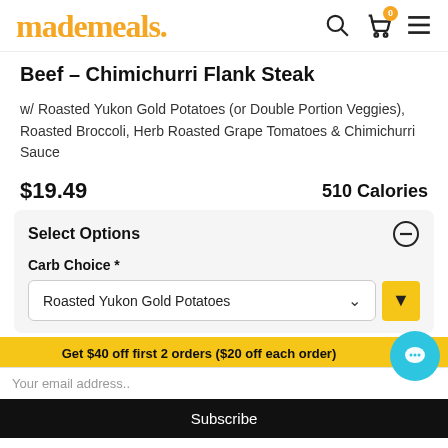mademeals.
Beef – Chimichurri Flank Steak
w/ Roasted Yukon Gold Potatoes (or Double Portion Veggies), Roasted Broccoli, Herb Roasted Grape Tomatoes & Chimichurri Sauce
$19.49    510 Calories
Select Options
Carb Choice *
Roasted Yukon Gold Potatoes
Get $40 off first 2 orders ($20 off each order)
Your email address..
Subscribe